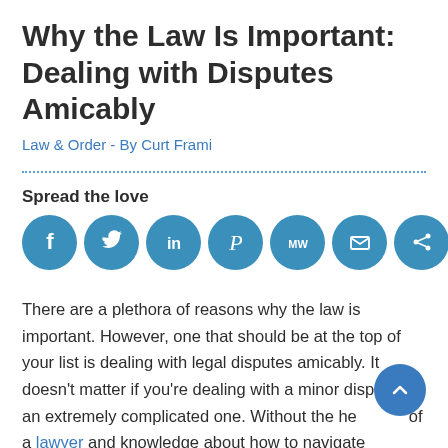Why the Law Is Important: Dealing with Disputes Amicably
Law & Order - By Curt Frami
Spread the love
[Figure (infographic): Seven social media sharing icons in blue circles: Facebook (f), Twitter (bird), LinkedIn (in), Pinterest (P), MeWe (MW), Email (envelope), Share (share icon)]
There are a plethora of reasons why the law is important. However, one that should be at the top of your list is dealing with legal disputes amicably. It doesn't matter if you're dealing with a minor dispute or an extremely complicated one. Without the help of a lawyer and knowledge about how to navigate